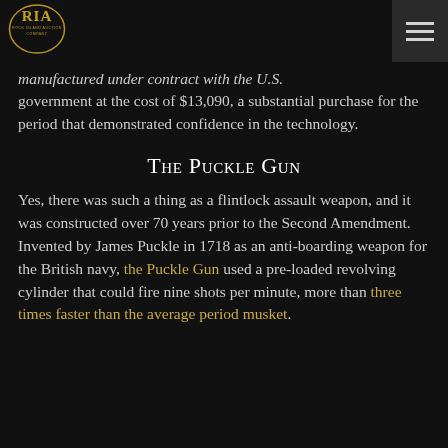[Figure (logo): RIA Rock Island Auction Company oval gold logo]
manufactured under contract with the U.S. government at the cost of $13,090, a substantial purchase for the period that demonstrated confidence in the technology.
The Puckle Gun
Yes, there was such a thing as a flintlock assault weapon, and it was constructed over 70 years prior to the Second Amendment. Invented by James Puckle in 1718 as an anti-boarding weapon for the British navy, the Puckle Gun used a pre-loaded revolving cylinder that could fire nine shots per minute, more than three times faster than the average period musket.